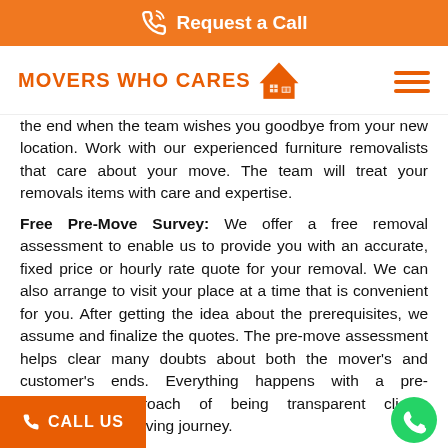Request a Call
[Figure (logo): Movers Who Cares logo with house icon]
the end when the team wishes you goodbye from your new location. Work with our experienced furniture removalists that care about your move. The team will treat your removals items with care and expertise.
Free Pre-Move Survey: We offer a free removal assessment to enable us to provide you with an accurate, fixed price or hourly rate quote for your removal. We can also arrange to visit your place at a time that is convenient for you. After getting the idea about the prerequisites, we assume and finalize the quotes. The pre-move assessment helps clear many doubts about both the mover's and customer's ends. Everything happens with a pre-determined approach of being transparent clients throughout the moving journey.
We offer a free removal assessment to enable us to provide you with an accurate, fixed price or hourly rate quote for